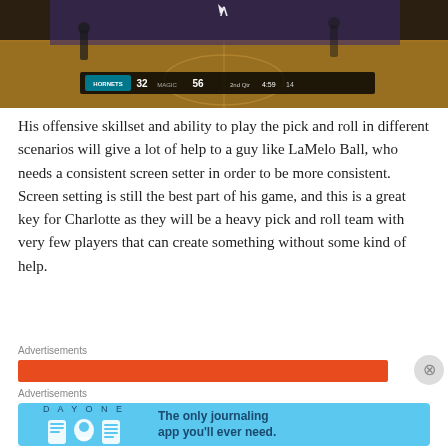[Figure (screenshot): Basketball game screenshot showing NBA game between Hornets (32) and Magic (56), 2nd Quarter, 4:59 remaining]
His offensive skillset and ability to play the pick and roll in different scenarios will give a lot of help to a guy like LaMelo Ball, who needs a consistent screen setter in order to be more consistent. Screen setting is still the best part of his game, and this is a great key for Charlotte as they will be a heavy pick and roll team with very few players that can create something without some kind of help.
Advertisements
Advertisements
[Figure (screenshot): Day One journaling app advertisement: The only journaling app you'll ever need.]